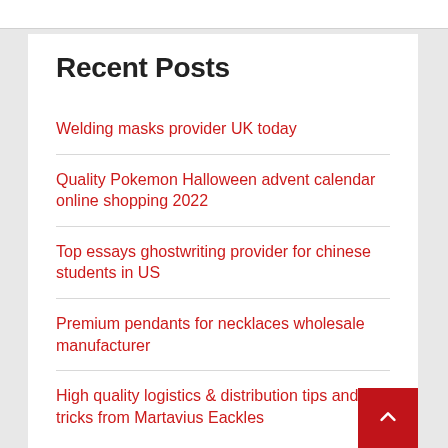Recent Posts
Welding masks provider UK today
Quality Pokemon Halloween advent calendar online shopping 2022
Top essays ghostwriting provider for chinese students in US
Premium pendants for necklaces wholesale manufacturer
High quality logistics & distribution tips and tricks from Martavius Eackles